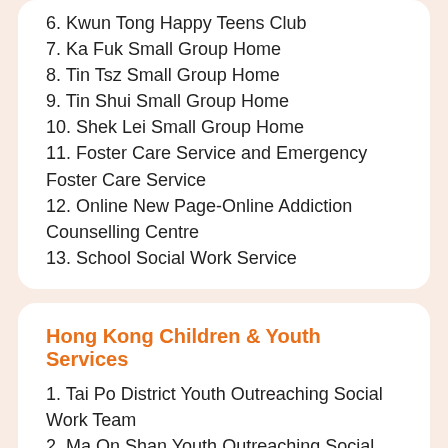6. Kwun Tong Happy Teens Club
7. Ka Fuk Small Group Home
8. Tin Tsz Small Group Home
9. Tin Shui Small Group Home
10. Shek Lei Small Group Home
11. Foster Care Service and Emergency Foster Care Service
12. Online New Page-Online Addiction Counselling Centre
13. School Social Work Service
Hong Kong Children & Youth Services
1. Tai Po District Youth Outreaching Social Work Team
2. Ma On Shan Youth Outreaching Social Work Team